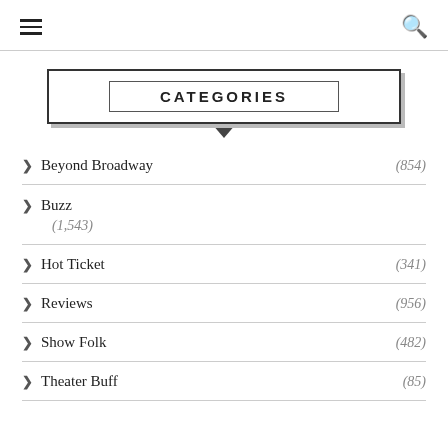Navigation header with hamburger menu and search icon
CATEGORIES
> Beyond Broadway (854)
> Buzz (1,543)
> Hot Ticket (341)
> Reviews (956)
> Show Folk (482)
> Theater Buff (85)